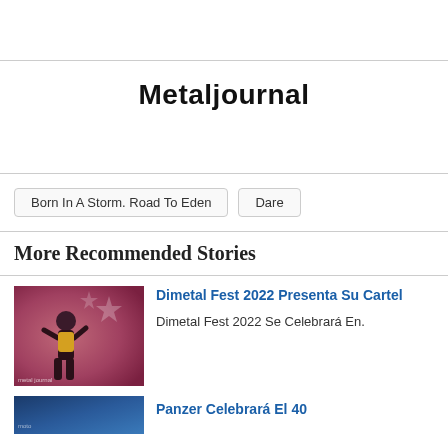Metaljournal
Born In A Storm. Road To Eden
Dare
More Recommended Stories
[Figure (photo): Concert photo of a performer on stage with pink/red lighting and star backdrop, watermark 'metal journal' at bottom right]
Dimetal Fest 2022 Presenta Su Cartel
Dimetal Fest 2022 Se Celebrará En.
[Figure (photo): Partial photo at bottom showing blue-toned image, likely another concert or band photo]
Panzer Celebrará El 40